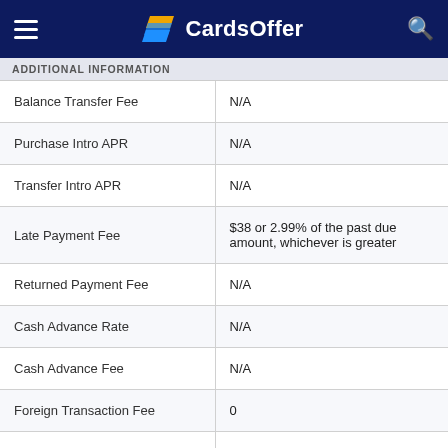CardsOffer
ADDITIONAL INFORMATION
| Feature | Value |
| --- | --- |
| Balance Transfer Fee | N/A |
| Purchase Intro APR | N/A |
| Transfer Intro APR | N/A |
| Late Payment Fee | $38 or 2.99% of the past due amount, whichever is greater |
| Returned Payment Fee | N/A |
| Cash Advance Rate | N/A |
| Cash Advance Fee | N/A |
| Foreign Transaction Fee | 0 |
| Smart Chip | N/A |